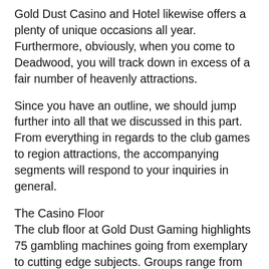Gold Dust Casino and Hotel likewise offers a plenty of unique occasions all year. Furthermore, obviously, when you come to Deadwood, you will track down in excess of a fair number of heavenly attractions.
Since you have an outline, we should jump further into all that we discussed in this part. From everything in regards to the club games to region attractions, the accompanying segments will respond to your inquiries in general.
The Casino Floor
The club floor at Gold Dust Gaming highlights 75 gambling machines going from exemplary to cutting edge subjects. Groups range from penny